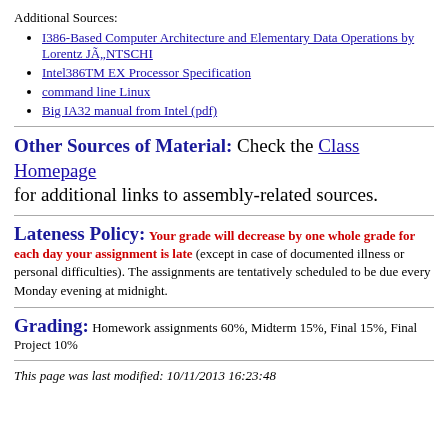Additional Sources:
I386-Based Computer Architecture and Elementary Data Operations by Lorentz JÃ„NTSCHI
Intel386TM EX Processor Specification
command line Linux
Big IA32 manual from Intel (pdf)
Other Sources of Material: Check the Class Homepage for additional links to assembly-related sources.
Lateness Policy: Your grade will decrease by one whole grade for each day your assignment is late (except in case of documented illness or personal difficulties). The assignments are tentatively scheduled to be due every Monday evening at midnight.
Grading: Homework assignments 60%, Midterm 15%, Final 15%, Final Project 10%
This page was last modified: 10/11/2013 16:23:48